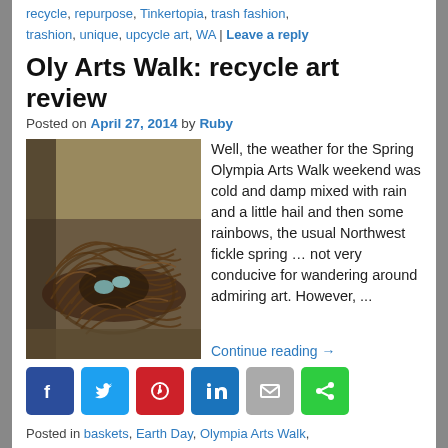recycle, repurpose, Tinkertopia, trash fashion, trashion, unique, upcycle art, WA | Leave a reply
Oly Arts Walk: recycle art review
Posted on April 27, 2014 by Ruby
[Figure (photo): A decorative nest-like basket made from twigs and vines, with small ornaments or eggs inside, displayed on a dark surface.]
Well, the weather for the Spring Olympia Arts Walk weekend was cold and damp mixed with rain and a little hail and then some rainbows, the usual Northwest fickle spring … not very conducive for wandering around admiring art.  However, ...
Continue reading →
[Figure (infographic): Social sharing buttons: Facebook, Twitter, Pinterest, LinkedIn, Email, Share]
Posted in baskets, Earth Day, Olympia Arts Walk, Olympia WA, recycled art shows, recycled artists, Uncategorized | Tagged art, Matter Gallery, Olympia, recycle, repurpose, reuse, trashion, unique, upcycle art, WA, Washington | Leave a reply